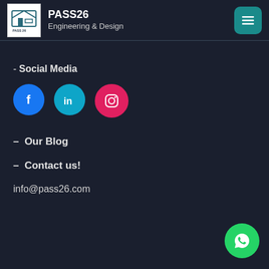PASS26 Engineering & Design
- Social Media
[Figure (infographic): Social media icons: Facebook (blue circle), LinkedIn (teal circle), Instagram (pink/red circle)]
– Our Blog
– Contact us!
info@pass26.com
[Figure (infographic): WhatsApp floating button (green circle with phone icon)]